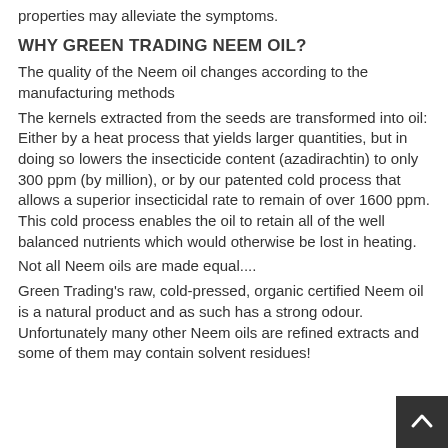properties may alleviate the symptoms.
WHY GREEN TRADING NEEM OIL?
The quality of the Neem oil changes according to the manufacturing methods
The kernels extracted from the seeds are transformed into oil: Either by a heat process that yields larger quantities, but in doing so lowers the insecticide content (azadirachtin) to only 300 ppm (by million), or by our patented cold process that allows a superior insecticidal rate to remain of over 1600 ppm. This cold process enables the oil to retain all of the well balanced nutrients which would otherwise be lost in heating.
Not all Neem oils are made equal....
Green Trading's raw, cold-pressed, organic certified Neem oil is a natural product and as such has a strong odour. Unfortunately many other Neem oils are refined extracts and some of them may contain solvent residues!